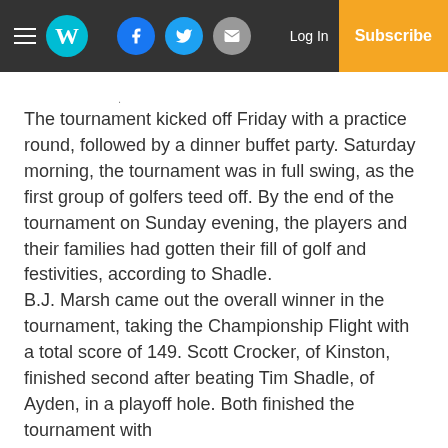Navigation bar with hamburger menu, W logo, Facebook, Twitter, Email icons, Log In, Subscribe
The tournament kicked off Friday with a practice round, followed by a dinner buffet party. Saturday morning, the tournament was in full swing, as the first group of golfers teed off. By the end of the tournament on Sunday evening, the players and their families had gotten their fill of golf and festivities, according to Shadle. B.J. Marsh came out the overall winner in the tournament, taking the Championship Flight with a total score of 149. Scott Crocker, of Kinston, finished second after beating Tim Shadle, of Ayden, in a playoff hole. Both finished the tournament with